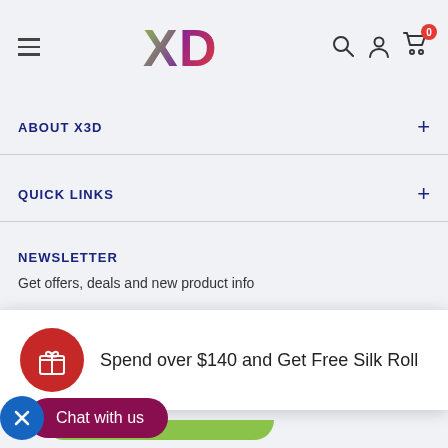[Figure (logo): XD logo with green X and purple-red D, hamburger menu icon on left, search, account, and cart icons on right with badge showing 0]
ABOUT X3D
QUICK LINKS
NEWSLETTER
Get offers, deals and new product info
Spend over $140 and Get Free Silk Roll
Chat with us